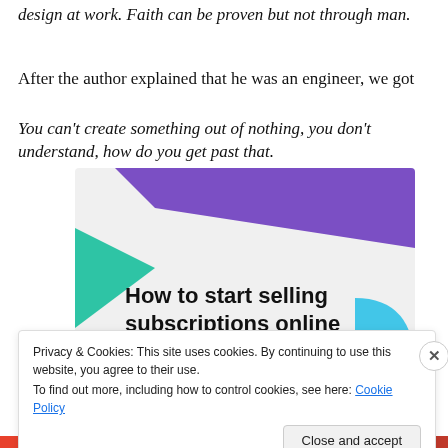design at work. Faith can be proven but not through man.
After the author explained that he was an engineer, we got
You can't create something out of nothing, you don't understand, how do you get past that.
[Figure (illustration): Advertisement banner with purple and teal geometric shapes on a light gray background, with bold text reading 'How to start selling subscriptions online']
Privacy & Cookies: This site uses cookies. By continuing to use this website, you agree to their use.
To find out more, including how to control cookies, see here: Cookie Policy
Close and accept